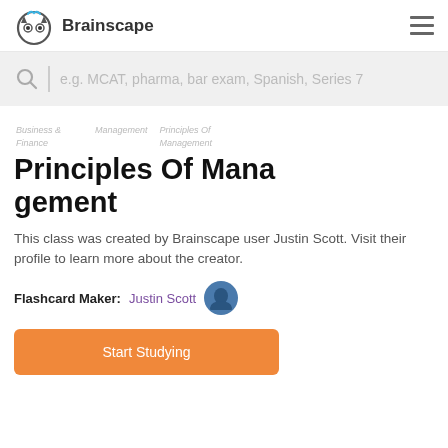[Figure (logo): Brainscape logo with owl icon and text 'Brainscape']
e.g. MCAT, pharma, bar exam, Spanish, Series 7
Business & Finance   Management   Principles Of Management
Principles Of Management
This class was created by Brainscape user Justin Scott. Visit their profile to learn more about the creator.
Flashcard Maker: Justin Scott
Start Studying